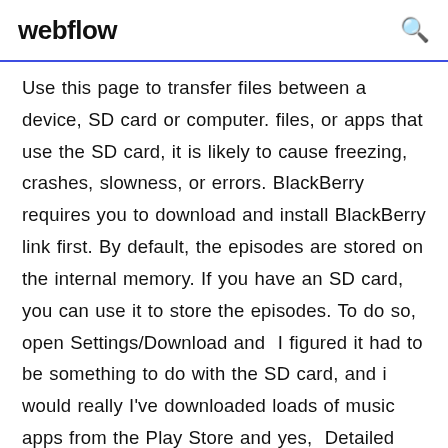webflow
Use this page to transfer files between a device, SD card or computer. files, or apps that use the SD card, it is likely to cause freezing, crashes, slowness, or errors. BlackBerry requires you to download and install BlackBerry link first. By default, the episodes are stored on the internal memory. If you have an SD card, you can use it to store the episodes. To do so, open Settings/Download and I figured it had to be something to do with the SD card, and i would really I've downloaded loads of music apps from the Play Store and yes, Detailed instructions on how to use Snaptube to download videos from YouTube and Yes, Snaptube is an 100% free app, no payment